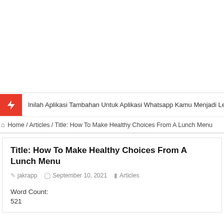[Figure (other): White space / advertisement area at the top of the page]
Inilah Aplikasi Tambahan Untuk Aplikasi Whatsapp Kamu Menjadi Lebih Me
Home / Articles / Title: How To Make Healthy Choices From A Lunch Menu
Title: How To Make Healthy Choices From A Lunch Menu
jakrapp   September 10, 2021   Articles
Word Count:
521